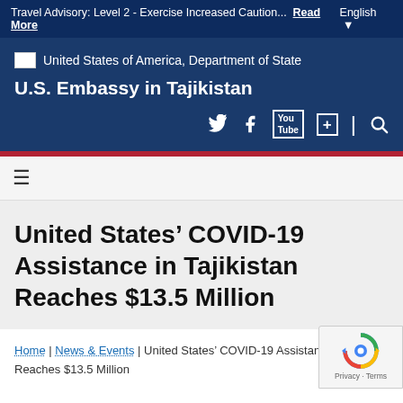Travel Advisory: Level 2 - Exercise Increased Caution... Read More  English ▼
[Figure (screenshot): U.S. Department of State / U.S. Embassy in Tajikistan website header with logo, embassy name, social media icons (Twitter, Facebook, YouTube, Google+, Search) on dark blue background]
United States' COVID-19 Assistance in Tajikistan Reaches $13.5 Million
Home | News & Events | United States' COVID-19 Assistance in Tajikistan Reaches $13.5 Million